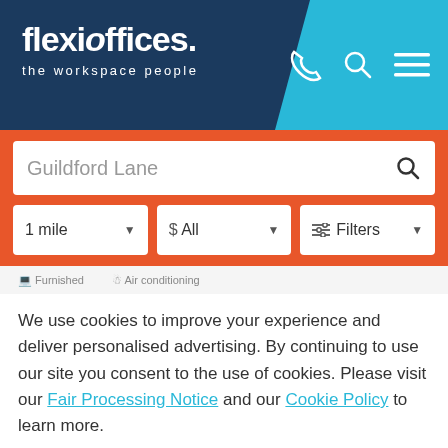[Figure (logo): Flexioffices logo with tagline 'the workspace people' on dark navy background, with phone, search and menu icons on cyan background]
[Figure (screenshot): Search bar showing 'Guildford Lane' with orange background, filter dropdowns for '1 mile', '$ All', and 'Filters']
Furnished   Air conditioning
We use cookies to improve your experience and deliver personalised advertising. By continuing to use our site you consent to the use of cookies. Please visit our Fair Processing Notice and our Cookie Policy to learn more.
Read more
Accept & Close